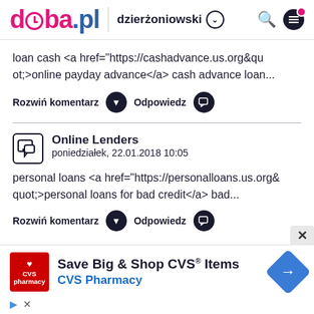doba.pl | dzierżoniowski
loan cash <a href="https://cashadvance.us.org&quot;>online payday advance</a> cash advance loan...
Rozwiń komentarz   Odpowiedz
Online Lenders
poniedziałek, 22.01.2018 10:05
personal loans <a href="https://personalloans.us.org&quot;>personal loans for bad credit</a> bad...
Rozwiń komentarz   Odpowiedz
[Figure (screenshot): CVS Pharmacy advertisement: Save Big & Shop CVS Items]